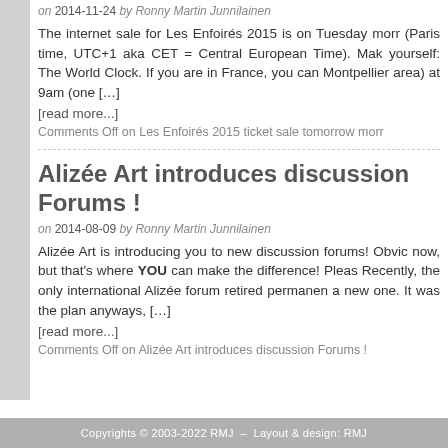on 2014-11-24 by Ronny Martin Junnilainen
The internet sale for Les Enfoirés 2015 is on Tuesday morr (Paris time, UTC+1 aka CET = Central European Time). Mak yourself: The World Clock. If you are in France, you can Montpellier area) at 9am (one […]
[read more...]
Comments Off on Les Enfoirés 2015 ticket sale tomorrow morr
Alizée Art introduces discussion Forums !
on 2014-08-09 by Ronny Martin Junnilainen
Alizée Art is introducing you to new discussion forums! Obvi now, but that's where YOU can make the difference! Pleas Recently, the only international Alizée forum retired permanen a new one. It was the plan anyways, […]
[read more...]
Comments Off on Alizée Art introduces discussion Forums !
Copyrights © 2003-2022 RMJ  –  Layout & design: RMJ